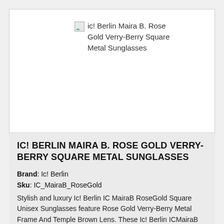[Figure (photo): Broken image placeholder for ic! Berlin Maira B. Rose Gold Verry-Berry Square Metal Sunglasses product photo]
IC! BERLIN MAIRA B. ROSE GOLD VERRY-BERRY SQUARE METAL SUNGLASSES
Brand: Ic! Berlin
Sku: IC_MairaB_RoseGold
Stylish and luxury Ic! Berlin IC MairaB RoseGold Square Unisex Sunglasses feature Rose Gold Verry-Berry Metal Frame And Temple Brown Lens. These Ic! Berlin ICMairaB RoseGold Square Sunglasse...